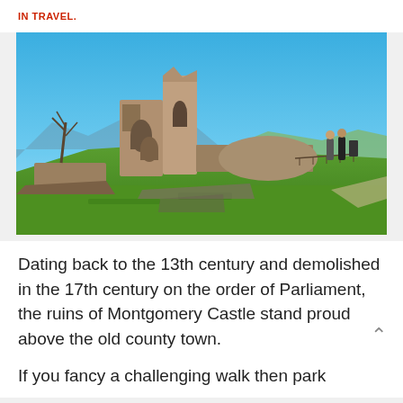IN TRAVEL.
[Figure (photo): Ruins of Montgomery Castle on a hilltop under a blue sky, with stone walls and towers standing, green grass below, two visitors visible on the right near a fence, landscape in the background.]
Dating back to the 13th century and demolished in the 17th century on the order of Parliament, the ruins of Montgomery Castle stand proud above the old county town.
If you fancy a challenging walk then park